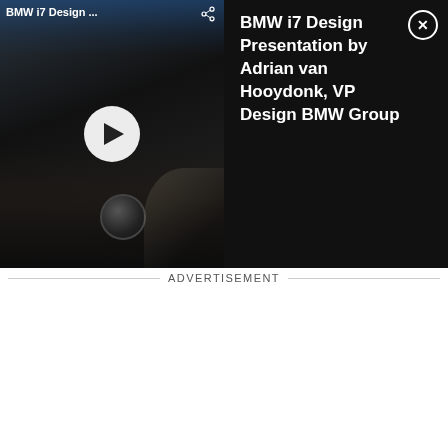[Figure (screenshot): BMW i7 Design Presentation video thumbnail showing dark car interior with play button, alongside title text 'BMW i7 Design Presentation by Adrian van Hooydonk, VP Design BMW Group' and a close (X) button]
ADVERTISEMENT